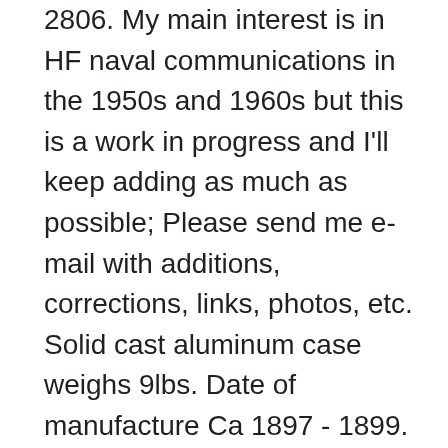2806. My main interest is in HF naval communications in the 1950s and 1960s but this is a work in progress and I'll keep adding as much as possible; Please send me e-mail with additions, corrections, links, photos, etc. Solid cast aluminum case weighs 9lbs. Date of manufacture Ca 1897 - 1899. is "Seventeen fifteen". We are honest, trusted, and selfless. An oversized black metal clock helps create an interesting focal point in your living room interior or any space. or Best Offer. Navy by the Waltham Clock Company as marked on the blackened dial and impressed on the back of the solid brass case. Round Wood Wall Clock Home Decor,Navy Blue Grey Elephant Nursery Wall Clock Pattern, Battery Operated, no Ticking Sound, for Home, The Kitchen,Living Deen New Current